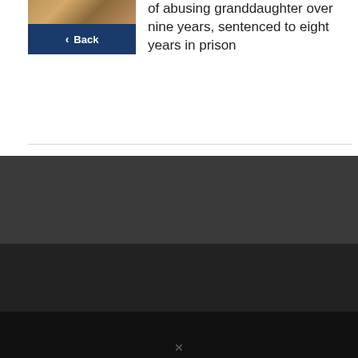[Figure (photo): Thumbnail image of a building exterior]
Back
of abusing granddaughter over nine years, sentenced to eight years in prison
ABOUT US